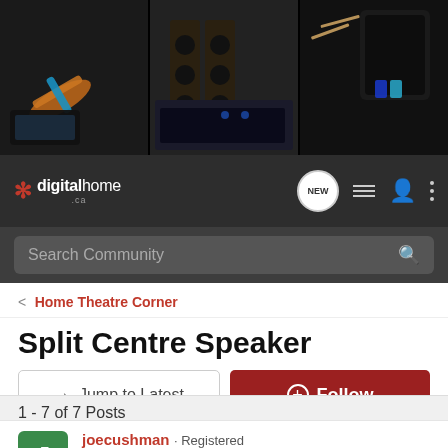[Figure (screenshot): digitalhome.ca forum banner with images of home theatre equipment including cables, TVs, speakers, and AV gear on dark background]
[Figure (screenshot): Navigation bar with digitalhome.ca logo, NEW button, list icon, user icon, and menu icon]
[Figure (screenshot): Search Community search bar with magnifying glass icon]
< Home Theatre Corner
Split Centre Speaker
→ Jump to Latest
+ Follow
1 - 7 of 7 Posts
joecushman · Registered
Joined Nov 8, 2010 · 9 Posts